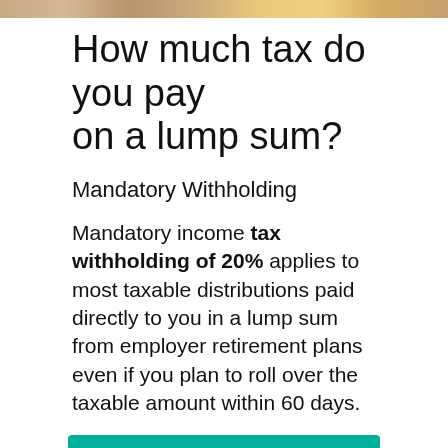[Figure (photo): Partial photo strip at the top of the page, appears to show a person, warm/golden tones]
How much tax do you pay on a lump sum?
Mandatory Withholding
Mandatory income tax withholding of 20% applies to most taxable distributions paid directly to you in a lump sum from employer retirement plans even if you plan to roll over the taxable amount within 60 days.
THIS IS IMPORTANT:  Is there an app where you can play blackjack for real money?
How do you stay safe after winning the lottery?